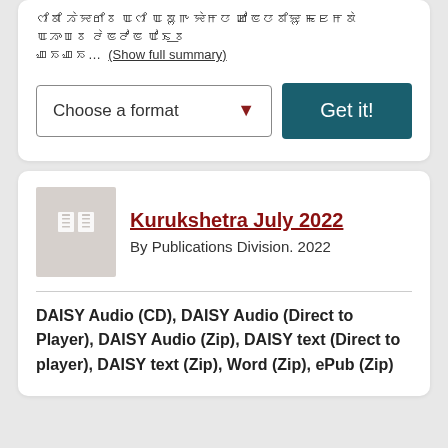ꯁꯤꯗꯤ ꯍꯥꯌꯔꯤꯕ ꯑꯁꯤ ꯑꯗꯨꯒ ꯌꯥꯝꯅ ꯀꯣꯟꯅꯕꯤꯌꯨ ꯃꯐꯝꯗꯥ ꯑꯍꯦꯡꯕ ꯂꯥꯟꯂꯣꯟ ꯑꯣꯏ꯭ꯕ... (Show full summary)
Choose a format
Get it!
Kurukshetra July 2022
By Publications Division. 2022
DAISY Audio (CD), DAISY Audio (Direct to Player), DAISY Audio (Zip), DAISY text (Direct to player), DAISY text (Zip), Word (Zip), ePub (Zip)